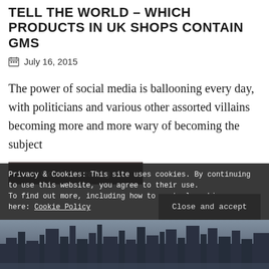TELL THE WORLD – WHICH PRODUCTS IN UK SHOPS CONTAIN GMS
July 16, 2015
The power of social media is ballooning every day, with politicians and various other assorted villains becoming more and more wary of becoming the subject
Privacy & Cookies: This site uses cookies. By continuing to use this website, you agree to their use.
To find out more, including how to control cookies, see here: Cookie Policy
Close and accept
[Figure (photo): Dark cityscape image at bottom of page, showing a city skyline with buildings in silhouette against a grey sky]